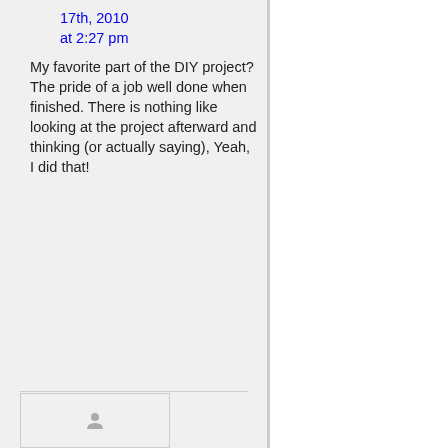17th, 2010 at 2:27 pm
My favorite part of the DIY project? The pride of a job well done when finished. There is nothing like looking at the project afterward and thinking (or actually saying), Yeah, I did that!